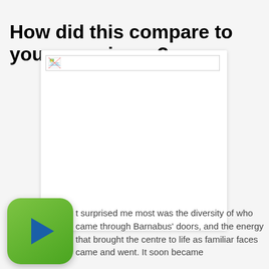How did this compare to your experience?
[Figure (photo): A placeholder image box with a broken image icon in the top-left corner, set within a white card container]
[Figure (other): Green rounded square play button icon]
t surprised me most was the diversity of who came through Barnabus' doors, and the energy that brought the centre to life as familiar faces came and went. It soon became